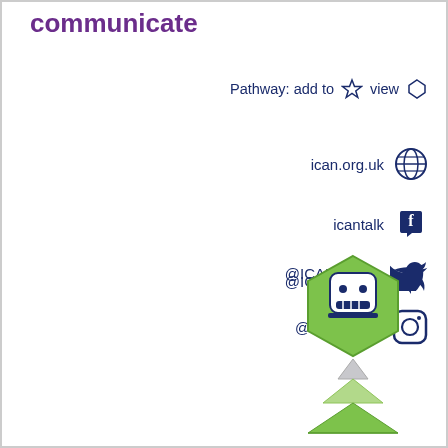communicate
Pathway: add to ☆ view ⬡
ican.org.uk 🌐
icantalk 𝑓
@ICANcharity 🐦
@icancharity 📷
[Figure (illustration): ICAN robot mascot in a green hexagon shape with a pyramid/triangle tier diagram below it in greens and grey]